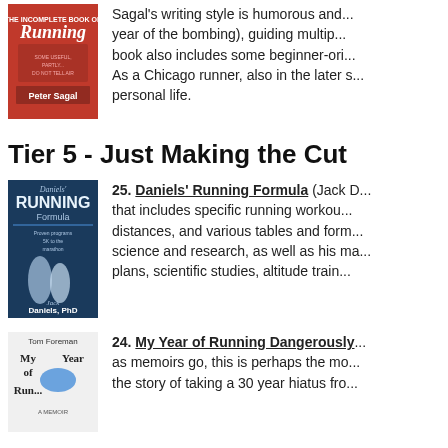[Figure (photo): Book cover of 'Running' by Peter Sagal, red cover with runner image]
Sagal's writing style is humorous and... year of the bombing), guiding multip... book also includes some beginner-ori... As a Chicago runner, also in the later s... personal life.
Tier 5 - Just Making the Cut
[Figure (photo): Book cover of Daniels' Running Formula by Jack Daniels, showing two runners racing]
25. Daniels' Running Formula (Jack D... that includes specific running workou... distances, and various tables and form... science and research, as well as his ma... plans, scientific studies, altitude train...
[Figure (photo): Book cover of My Year of Running Dangerously by Tom Foreman]
24. My Year of Running Dangerously... as memoirs go, this is perhaps the mo... the story of taking a 30 year hiatus fro...